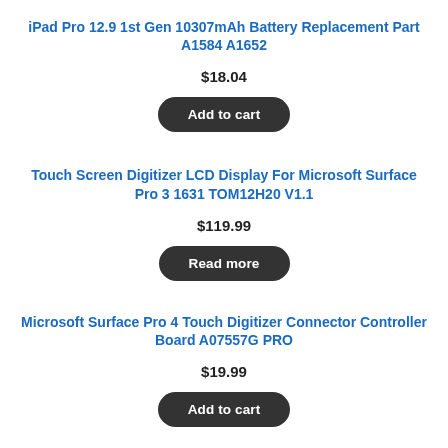iPad Pro 12.9 1st Gen 10307mAh Battery Replacement Part A1584 A1652
$18.04
Add to cart
Touch Screen Digitizer LCD Display For Microsoft Surface Pro 3 1631 TOM12H20 V1.1
$119.99
Read more
Microsoft Surface Pro 4 Touch Digitizer Connector Controller Board A07557G PRO
$19.99
Add to cart